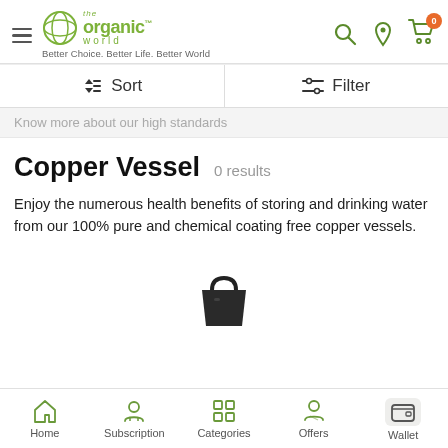the organic world™ — Better Choice. Better Life. Better World
Sort  Filter
Know more about our high standards
Copper Vessel  0 results
Enjoy the numerous health benefits of storing and drinking water from our 100% pure and chemical coating free copper vessels.
[Figure (illustration): Empty shopping bag icon (dark/black) indicating no products found]
Home  Subscription  Categories  Offers  Wallet